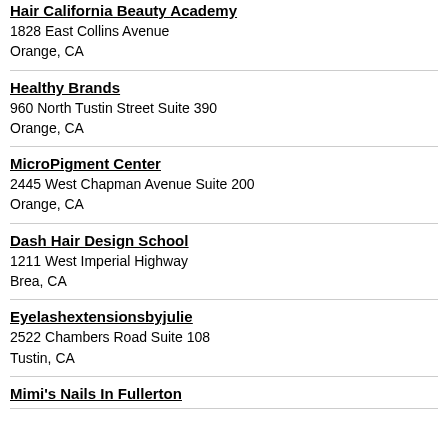Hair California Beauty Academy
1828 East Collins Avenue
Orange, CA
Healthy Brands
960 North Tustin Street Suite 390
Orange, CA
MicroPigment Center
2445 West Chapman Avenue Suite 200
Orange, CA
Dash Hair Design School
1211 West Imperial Highway
Brea, CA
Eyelashextensionsbyjulie
2522 Chambers Road Suite 108
Tustin, CA
Mimi's Nails In Fullerton